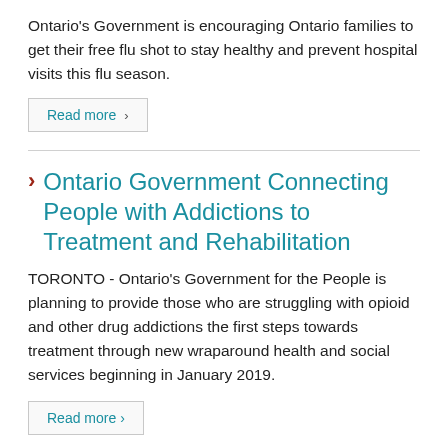Ontario's Government is encouraging Ontario families to get their free flu shot to stay healthy and prevent hospital visits this flu season.
Read more >
Ontario Government Connecting People with Addictions to Treatment and Rehabilitation
TORONTO - Ontario's Government for the People is planning to provide those who are struggling with opioid and other drug addictions the first steps towards treatment through new wraparound health and social services beginning in January 2019.
Read more >